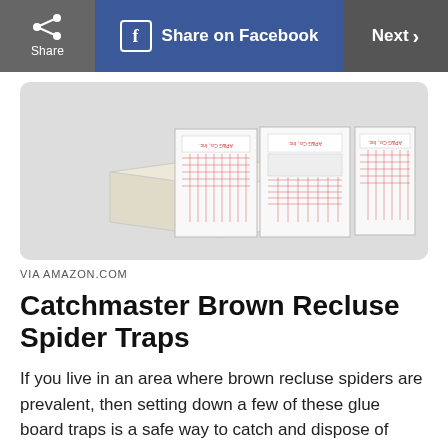Share | Share on Facebook | Next
[Figure (photo): Catchmaster Brown Recluse Spider Trap glue board product photo showing white box trap with red text and grid monitoring insert cards]
VIA AMAZON.COM
Catchmaster Brown Recluse Spider Traps
If you live in an area where brown recluse spiders are prevalent, then setting down a few of these glue board traps is a safe way to catch and dispose of them. Placing several traps in various locations